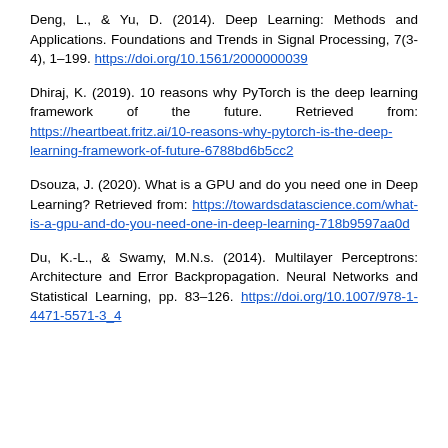Deng, L., & Yu, D. (2014). Deep Learning: Methods and Applications. Foundations and Trends in Signal Processing, 7(3-4), 1–199. https://doi.org/10.1561/2000000039
Dhiraj, K. (2019). 10 reasons why PyTorch is the deep learning framework of the future. Retrieved from: https://heartbeat.fritz.ai/10-reasons-why-pytorch-is-the-deep-learning-framework-of-future-6788bd6b5cc2
Dsouza, J. (2020). What is a GPU and do you need one in Deep Learning? Retrieved from: https://towardsdatascience.com/what-is-a-gpu-and-do-you-need-one-in-deep-learning-718b9597aa0d
Du, K.-L., & Swamy, M.N.s. (2014). Multilayer Perceptrons: Architecture and Error Backpropagation. Neural Networks and Statistical Learning, pp. 83–126. https://doi.org/10.1007/978-1-4471-5571-3_4